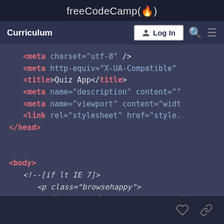freeCodeCamp(🔥)
Curriculum  Log In
[Figure (screenshot): A freeCodeCamp curriculum page showing a code editor with HTML code including meta tags, title tag (Quiz App), link tag, head closing tag, body tag, conditional comment for IE 7, and a browsehappy paragraph element.]
Heart icon and link icon at bottom right